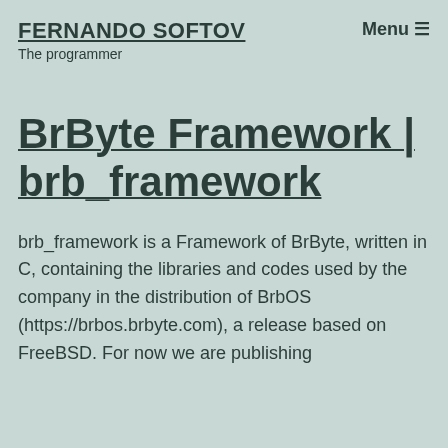FERNANDO SOFTOV
The programmer
BrByte Framework | brb_framework
brb_framework is a Framework of BrByte, written in C, containing the libraries and codes used by the company in the distribution of BrbOS (https://brbos.brbyte.com), a release based on FreeBSD. For now we are publishing